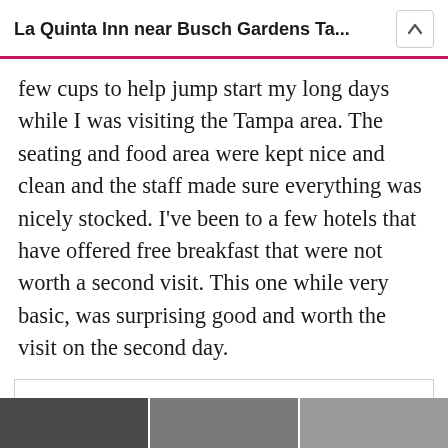La Quinta Inn near Busch Gardens Ta...
few cups to help jump start my long days while I was visiting the Tampa area. The seating and food area were kept nice and clean and the staff made sure everything was nicely stocked. I’ve been to a few hotels that have offered free breakfast that were not worth a second visit. This one while very basic, was surprising good and worth the visit on the second day.
Privacy & Cookies: This site uses cookies. By continuing to use this website, you agree to their use.
To find out more, including how to control cookies, see here: Cookie Policy
Close and accept
[Figure (photo): Photo strip at bottom showing hotel breakfast area images]